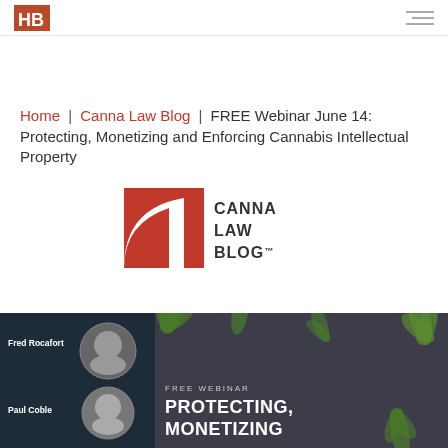Harris Bricken logo and navigation
Home | Canna Law Blog | FREE Webinar June 14: Protecting, Monetizing and Enforcing Cannabis Intellectual Property
[Figure (logo): Canna Law Blog logo - orange square with white arc and text CANNA LAW BLOG]
[Figure (photo): Webinar promotional banner with dark background, cannabis leaves, headshots of Fred Rocafort and Paul Coble, FREE WEBINAR text, and PROTECTING, MONETIZING headline]